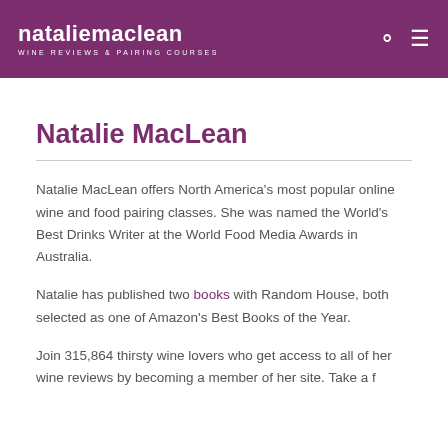natalie maclean — WINE REVIEWS & PAIRING COURSES
Natalie MacLean
Natalie MacLean offers North America's most popular online wine and food pairing classes. She was named the World's Best Drinks Writer at the World Food Media Awards in Australia.
Natalie has published two books with Random House, both selected as one of Amazon's Best Books of the Year.
Join 315,864 thirsty wine lovers who get access to all of her wine reviews by becoming a member of her site. Take a f…